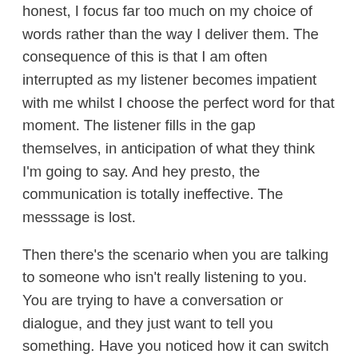honest, I focus far too much on my choice of words rather than the way I deliver them. The consequence of this is that I am often interrupted as my listener becomes impatient with me whilst I choose the perfect word for that moment. The listener fills in the gap themselves, in anticipation of what they think I'm going to say. And hey presto, the communication is totally ineffective. The messsage is lost.
Then there's the scenario when you are talking to someone who isn't really listening to you. You are trying to have a conversation or dialogue, and they just want to tell you something. Have you noticed how it can switch you into the same mode?
Words make up only 7% of communication: body language is 55% and tone is 38%. If you really want